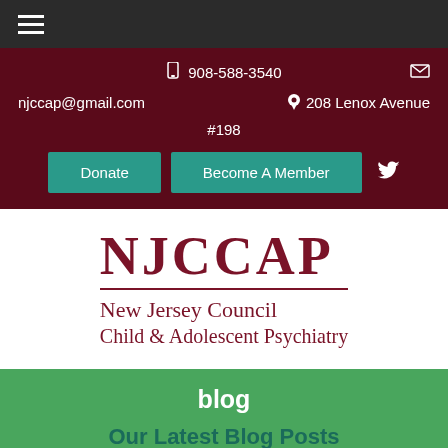≡ (hamburger menu)
📱 908-588-3540  ✉
njccap@gmail.com  📍 208 Lenox Avenue
#198
Donate  Become A Member  🐦
NJCCAP New Jersey Council Child & Adolescent Psychiatry
blog
Our Latest Blog Posts